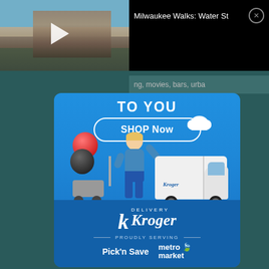[Figure (screenshot): Video thumbnail of Milwaukee street scene with play button overlay, showing brick buildings along a street]
Milwaukee Walks: Water St ✕
ng, movies, bars, urba
[Figure (infographic): Kroger Delivery advertisement with blue background showing TO YOU text, cartoon delivery person with berry cart and Kroger delivery van, SHOP Now button, Kroger Delivery logo, PROUDLY SERVING text, Pick'n Save and metro market logos]